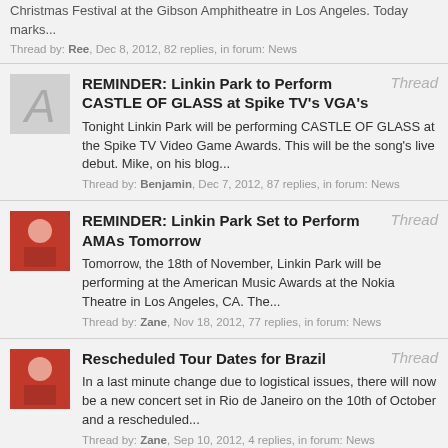Christmas Festival at the Gibson Amphitheatre in Los Angeles. Today marks...
Thread by: Ree, Dec 8, 2012, 82 replies, in forum: News
REMINDER: Linkin Park to Perform CASTLE OF GLASS at Spike TV's VGA's
Tonight Linkin Park will be performing CASTLE OF GLASS at the Spike TV Video Game Awards. This will be the song's live debut. Mike, on his blog...
Thread by: Benjamin, Dec 7, 2012, 87 replies, in forum: News
REMINDER: Linkin Park Set to Perform AMAs Tomorrow
Tomorrow, the 18th of November, Linkin Park will be performing at the American Music Awards at the Nokia Theatre in Los Angeles, CA. The...
Thread by: Zane, Nov 18, 2012, 77 replies, in forum: News
Rescheduled Tour Dates for Brazil
In a last minute change due to logistical issues, there will now be a new concert set in Rio de Janeiro on the 10th of October and a rescheduled...
Thread by: Zane, Sep 10, 2012, 4 replies, in forum: News
09.10.12 - San Diego, California
After a long and exciting tour cycle, Linkin Park will be performing the last date of the Honda Civic Tour tonight at the Cricket Wireless...